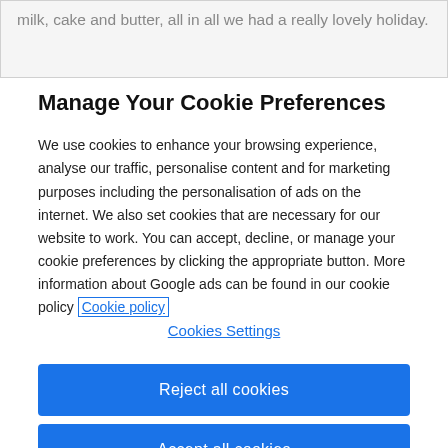milk, cake and butter, all in all we had a really lovely holiday.
Manage Your Cookie Preferences
We use cookies to enhance your browsing experience, analyse our traffic, personalise content and for marketing purposes including the personalisation of ads on the internet. We also set cookies that are necessary for our website to work. You can accept, decline, or manage your cookie preferences by clicking the appropriate button. More information about Google ads can be found in our cookie policy Cookie policy
Cookies Settings
Reject all cookies
Accept all cookies